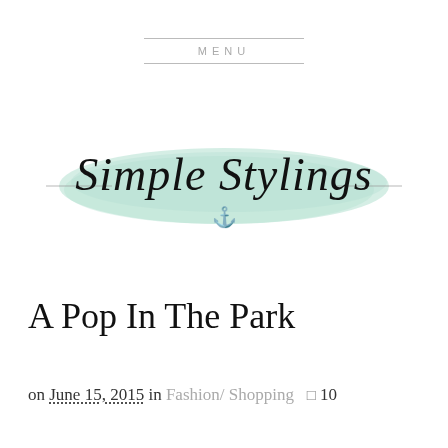MENU
[Figure (logo): Simple Stylings blog logo with mint green watercolor brush stroke background and cursive script text reading 'Simple Stylings' with a gold anchor icon below the text, flanked by thin decorative lines]
A Pop In The Park
on June 15, 2015 in Fashion/ Shopping  🗨 10